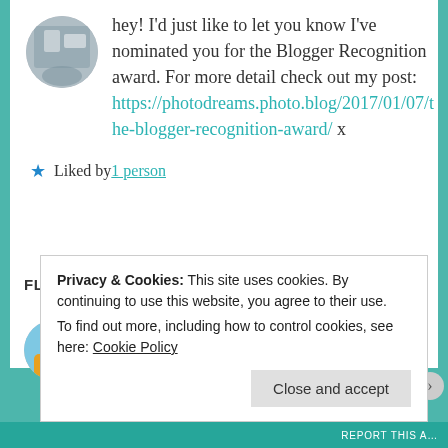hey! I'd just like to let you know I've nominated you for the Blogger Recognition award. For more detail check out my post: https://photodreams.photo.blog/2017/01/07/the-blogger-recognition-award/ x
Liked by 1 person
FLAWEDSILENCE   January 31, 2017 at 7:22 pm
LOG IN TO REPLY
aw thank you so much x will be sure to complete it soon x
Privacy & Cookies: This site uses cookies. By continuing to use this website, you agree to their use. To find out more, including how to control cookies, see here: Cookie Policy